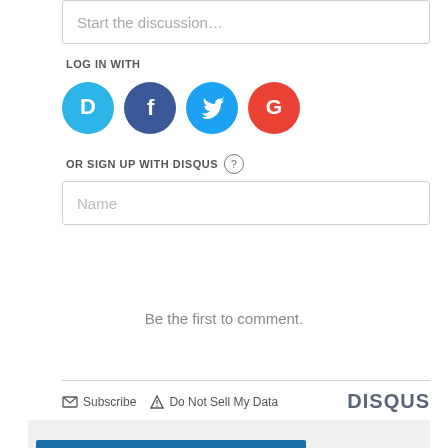Start the discussion…
LOG IN WITH
[Figure (logo): Social login icons: Disqus (blue D), Facebook (dark blue F), Twitter (light blue bird), Google (red G)]
OR SIGN UP WITH DISQUS ?
Name
Be the first to comment.
Subscribe  Do Not Sell My Data  DISQUS
Other Face to face News